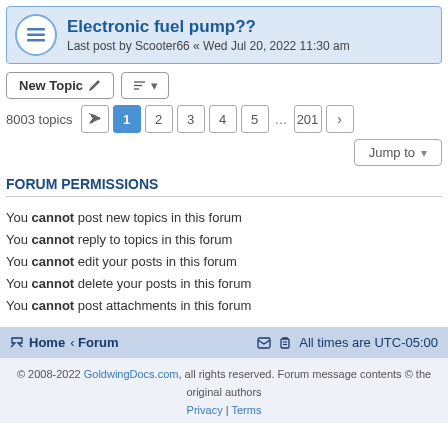Electronic fuel pump?? Last post by Scooter66 « Wed Jul 20, 2022 11:30 am
New Topic | Sort | 8003 topics | 1 2 3 4 5 ... 201 > | Jump to
FORUM PERMISSIONS
You cannot post new topics in this forum
You cannot reply to topics in this forum
You cannot edit your posts in this forum
You cannot delete your posts in this forum
You cannot post attachments in this forum
Home · Forum   All times are UTC-05:00
© 2008-2022 GoldwingDocs.com, all rights reserved. Forum message contents © the original authors
Privacy | Terms